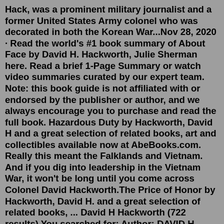Hack, was a prominent military journalist and a former United States Army colonel who was decorated in both the Korean War...Nov 28, 2020 · Read the world's #1 book summary of About Face by David H. Hackworth, Julie Sherman here. Read a brief 1-Page Summary or watch video summaries curated by our expert team. Note: this book guide is not affiliated with or endorsed by the publisher or author, and we always encourage you to purchase and read the full book. Hazardous Duty by Hackworth, David H and a great selection of related books, art and collectibles available now at AbeBooks.com. Really this meant the Falklands and Vietnam. And if you dig into leadership in the Vietnam War, it won't be long until you come across Colonel David Hackworth.The Price of Honor by Hackworth, David H. and a great selection of related books, ... David H Hackworth (722 results) You searched for: Author: DAVID H HACKWORTH. Colonel David Hackworth was a man who stuck to his guns and was never afraid to...